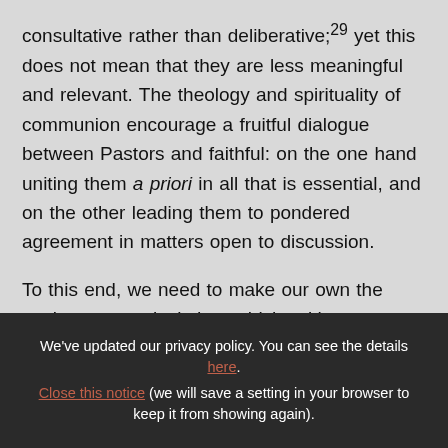consultative rather than deliberative;29 yet this does not mean that they are less meaningful and relevant. The theology and spirituality of communion encourage a fruitful dialogue between Pastors and faithful: on the one hand uniting them a priori in all that is essential, and on the other leading them to pondered agreement in matters open to discussion.

To this end, we need to make our own the ancient pastoral wisdom which, without
We've updated our privacy policy. You can see the details here.
Close this notice (we will save a setting in your browser to keep it from showing again).